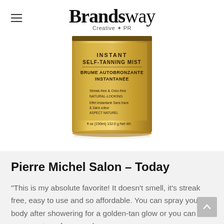Brandsway Creative & PR
[Figure (photo): Gold aerosol can of self-tanning mist product labeled 'INSTANT SELF-TANNING MIST / BRUME AUTOBRONZANTE INSTANTANÉE', shown cropped from the top, with text details including 'Streak-free & Odor-free, Natural-looking'.]
Pierre Michel Salon – Today
"This is my absolute favorite! It doesn't smell, it's streak free, easy to use and so affordable. You can spray your body after showering for a golden-tan glow or you can spray on top of your makeup as a